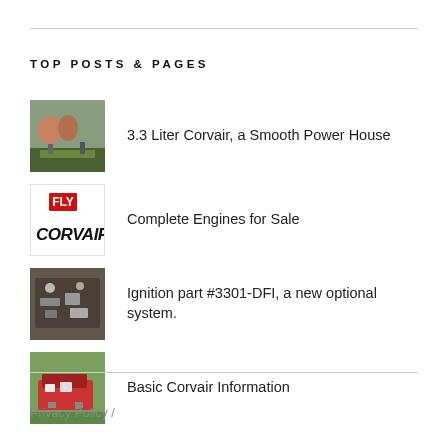TOP POSTS & PAGES
3.3 Liter Corvair, a Smooth Power House
Complete Engines for Sale
Ignition part #3301-DFI, a new optional system.
Basic Corvair Information
Privacy Policy /